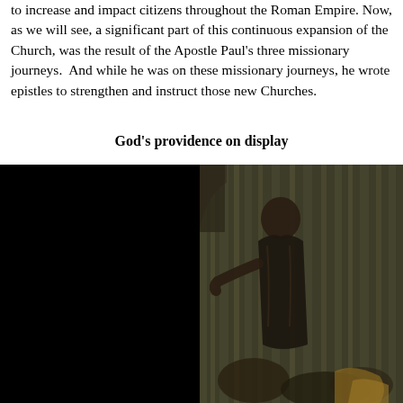to increase and impact citizens throughout the Roman Empire. Now, as we will see, a significant part of this continuous expansion of the Church, was the result of the Apostle Paul's three missionary journeys.  And while he was on these missionary journeys, he wrote epistles to strengthen and instruct those new Churches.
God's providence on display
[Figure (photo): A partially dark image split into two halves: the left half is completely black, and the right half shows a dimly lit painting or illustration of a robed figure (possibly historical or religious) with draped fabric and architectural elements in the background.]